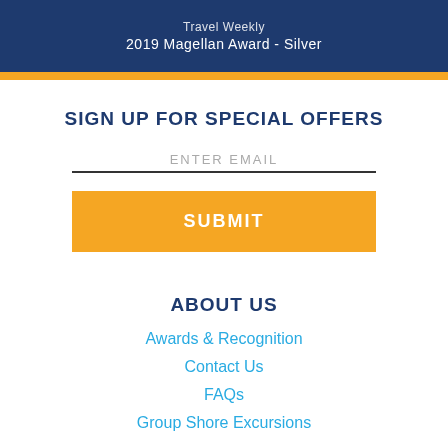2019 Magellan Award - Silver
SIGN UP FOR SPECIAL OFFERS
ENTER EMAIL
SUBMIT
ABOUT US
Awards & Recognition
Contact Us
FAQs
Group Shore Excursions